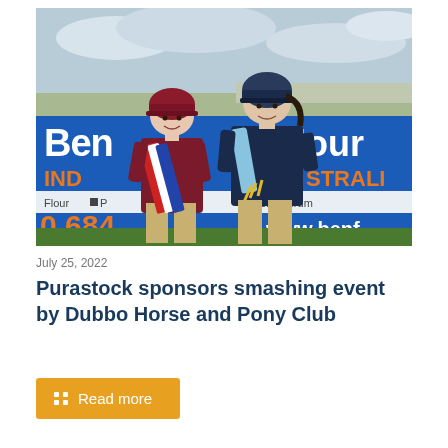[Figure (photo): Two children wearing equestrian helmets standing in front of a blue and white sponsorship banner. The left child wears a maroon sweater and has a red/white/blue sash. The right child wears a navy jacket and has a light blue sash with yellow tassels. The banner reads 'Ben flour IND STRALI Flour P Breadcrum 0 684 www.benf'.]
July 25, 2022
Purastock sponsors smashing event by Dubbo Horse and Pony Club
Read more